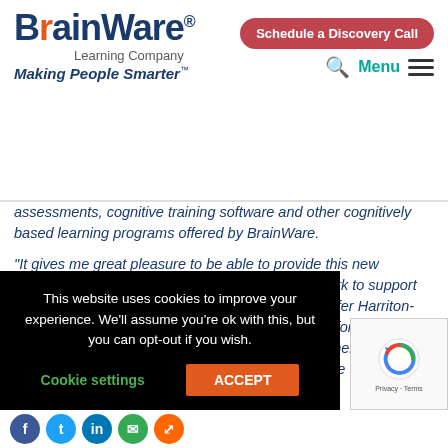[Figure (logo): BrainWare Learning Company logo with tagline 'Making People Smarter']
Schedule a Discovery Call
Menu
assessments, cognitive training software and other cognitively based learning programs offered by BrainWare.
“It gives me great pleasure to be able to provide this new opportunity for schools across the state of New York to support students with innovative learning tools,” said Jennifer Harriton-Wilson, Ed.D., Education Technology Coordinator for the Putnam/Northern Westchester BOCES. “This partnership makes BrainWare Learning Company’s programs available to a majority of [stu]dents and their
This website uses cookies to improve your experience. We’ll assume you’re ok with this, but you can opt-out if you wish.
Cookie settings
ACCEPT
[Figure (logo): reCAPTCHA logo with Privacy and Terms text]